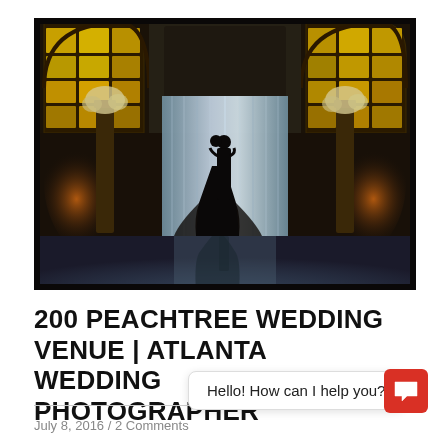[Figure (photo): Wedding photo showing bride and groom silhouette kissing in an elegant ballroom venue with large stained glass windows glowing yellow-gold, white curtain backdrop, orange uplighting on columns, and reflective floor. Venue is 200 Peachtree in Atlanta.]
200 PEACHTREE WEDDING VENUE | ATLANTA WEDDING PHOTOGRAPHER
July 8, 2016 / 2 Comments